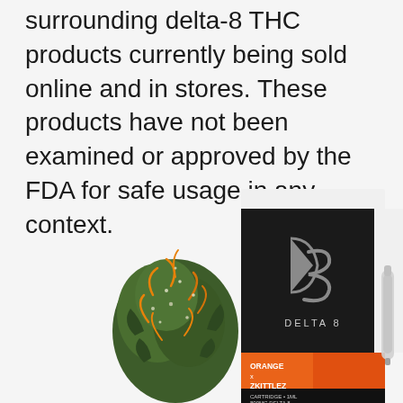surrounding delta-8 THC products currently being sold online and in stores. These products have not been examined or approved by the FDA for safe usage in any context.
[Figure (photo): A Delta 8 THC vape cartridge product box (black packaging with 'DELTA 8' branding, 'ORANGE x ZKITTLEZ' strain label, 'CARTRIDGE 1ML 800MG DELTA 8') alongside a cannabis flower bud]